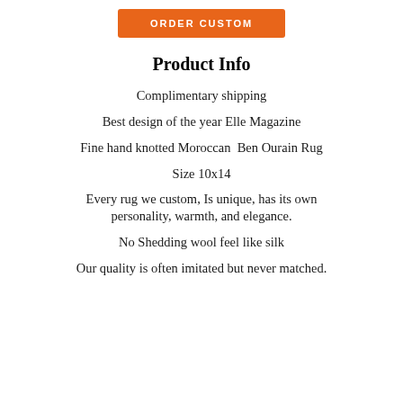[Figure (other): Orange 'ORDER CUSTOM' button]
Product Info
Complimentary shipping
Best design of the year Elle Magazine
Fine hand knotted Moroccan  Ben Ourain Rug
Size 10x14
Every rug we custom, Is unique, has its own personality, warmth, and elegance.
No Shedding wool feel like silk
Our quality is often imitated but never matched.